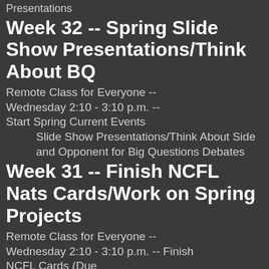Presentations
Week 32 -- Spring Slide Show Presentations/Think About BQ
Remote Class for Everyone -- Wednesday 2:10 - 3:10 p.m. -- Start Spring Current Events
Slide Show Presentations/Think About Side and Opponent for Big Questions Debates
Week 31 -- Finish NCFL Nats Cards/Work on Spring Projects
Remote Class for Everyone -- Wednesday 2:10 - 3:10 p.m. -- Finish NCFL Cards (Due